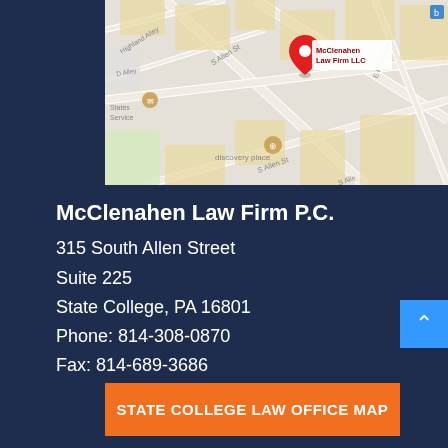[Figure (map): Google Maps screenshot showing the location of McClenahen Law Firm LLC at 315 South Allen Street, State College, PA. Streets visible include Highland Alley, S Allen St, E Foster Ave, D Alley, E Fairmount, and landmarks including States Service and discovery place. A red pin marker is placed at the law firm location with a label reading 'McClenahen Law Firm LLC'.]
McClenahen Law Firm P.C.
315 South Allen Street
Suite 225
State College, PA 16801
Phone: 814-308-0870
Fax: 814-689-3686
STATE COLLEGE LAW OFFICE MAP